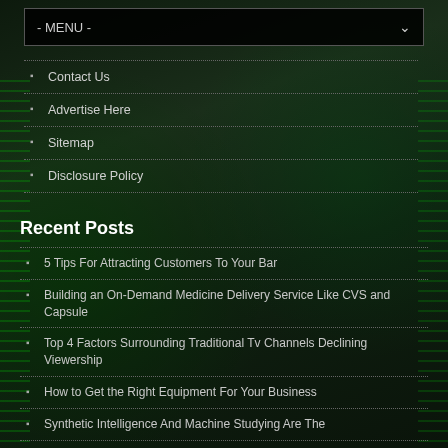- MENU -
Contact Us
Advertise Here
Sitemap
Disclosure Policy
Recent Posts
5 Tips For Attracting Customers To Your Bar
Building an On-Demand Medicine Delivery Service Like CVS and Capsule
Top 4 Factors Surrounding Traditional Tv Channels Declining Viewership
How to Get the Right Equipment For Your Business
Synthetic Intelligence And Machine Studying Are The